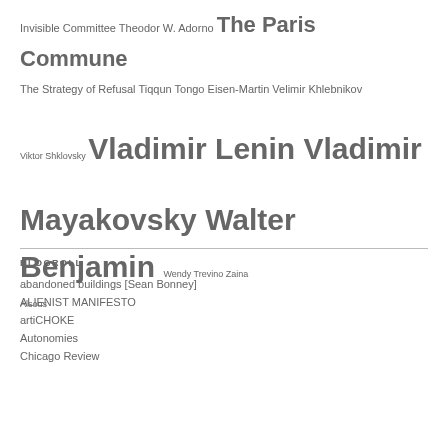Invisible Committee Theodor W. Adorno The Paris Commune The Strategy of Refusal Tiqqun Tongo Eisen-Martin Velimir Khlebnikov Viktor Shklovsky Vladimir Lenin Vladimir Mayakovsky Walter Benjamin Wendy Trevino Zaina Alsous
BLOGROLL
abandoned buildings [Sean Bonney]
ALIENIST MANIFESTO
artiCHOKE
Autonomies
Chicago Review